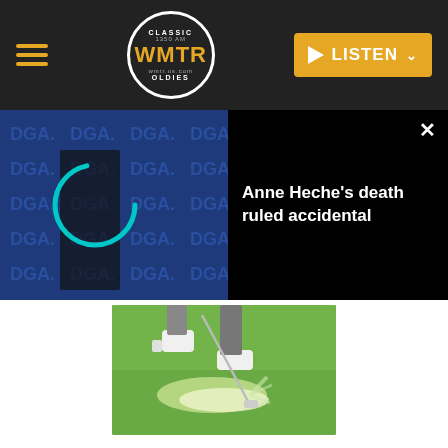WMTR Classic Oldies — LISTEN
[Figure (screenshot): Anne Heche news video overlay with DGA backdrop and text 'Anne Heche's death ruled accidental']
[Figure (photo): Close-up photo of a golfer's feet and club hitting a golf ball on grass]
PGA TOUR – 2007 AT&T Pebble Beach National Pro-Am – 3M Celebrity Challenge
Share
UNITED STATES, FEBRUARY 07: Bill Murray